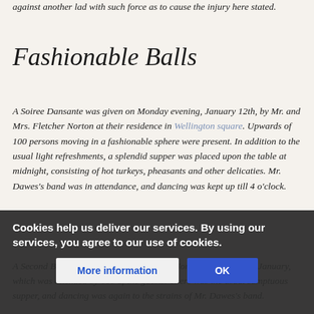against another lad with such force as to cause the injury here stated.
Fashionable Balls
A Soiree Dansante was given on Monday evening, January 12th, by Mr. and Mrs. Fletcher Norton at their residence in Wellington square. Upwards of 100 persons moving in a fashionable sphere were present. In addition to the usual light refreshments, a splendid supper was placed upon the table at midnight, consisting of hot turkeys, pheasants and other delicaties. Mr. Dawes's band was in attendance, and dancing was kept up till 4 o'clock.
A Second Ball was given by Mrs. Fletcher Norton on the 26th of January, which was attended by 100 of the guests. There was the usual sumptuous supper, and dancing was again to the strains of Mr. Dawes's band.
Cookies help us deliver our services. By using our services, you agree to our use of cookies.